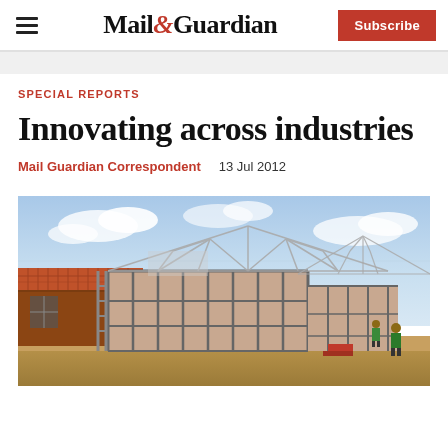Mail&Guardian | Subscribe
SPECIAL REPORTS
Innovating across industries
Mail Guardian Correspondent   13 Jul 2012
[Figure (photo): Construction site showing steel roof trusses being erected over low-rise buildings with pink/terracotta panel walls, under a partly cloudy sky. Workers visible on right side.]